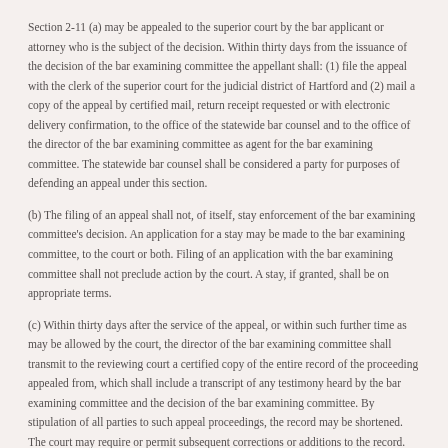Section 2-11 (a) may be appealed to the superior court by the bar applicant or attorney who is the subject of the decision. Within thirty days from the issuance of the decision of the bar examining committee the appellant shall: (1) file the appeal with the clerk of the superior court for the judicial district of Hartford and (2) mail a copy of the appeal by certified mail, return receipt requested or with electronic delivery confirmation, to the office of the statewide bar counsel and to the office of the director of the bar examining committee as agent for the bar examining committee. The statewide bar counsel shall be considered a party for purposes of defending an appeal under this section.
(b) The filing of an appeal shall not, of itself, stay enforcement of the bar examining committee's decision. An application for a stay may be made to the bar examining committee, to the court or both. Filing of an application with the bar examining committee shall not preclude action by the court. A stay, if granted, shall be on appropriate terms.
(c) Within thirty days after the service of the appeal, or within such further time as may be allowed by the court, the director of the bar examining committee shall transmit to the reviewing court a certified copy of the entire record of the proceeding appealed from, which shall include a transcript of any testimony heard by the bar examining committee and the decision of the bar examining committee. By stipulation of all parties to such appeal proceedings, the record may be shortened. The court may require or permit subsequent corrections or additions to the record.